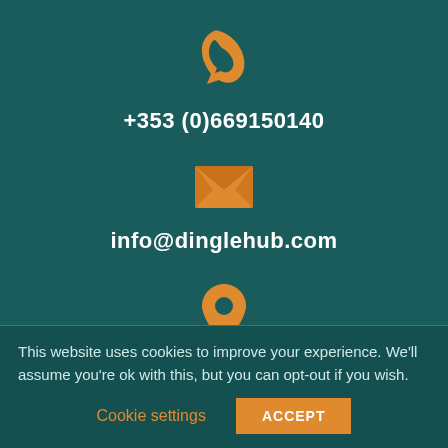[Figure (illustration): Orange phone handset icon]
+353 (0)669150140
[Figure (illustration): Orange envelope/email icon]
info@dinglehub.com
[Figure (illustration): Orange map pin/location icon]
Páirc Ghnó Cúilín, Dingle, Co. Kerry, V92 PgNX, Ireland
This website uses cookies to improve your experience. We'll assume you're ok with this, but you can opt-out if you wish.
Cookie settings
ACCEPT